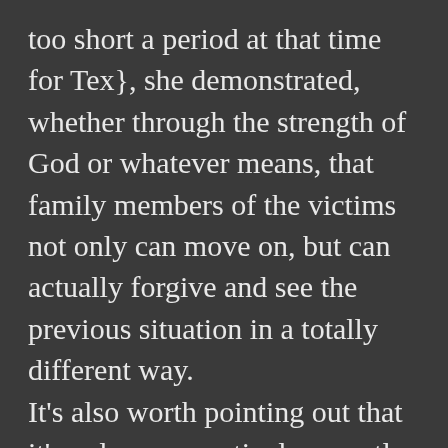too short a period at that time for Tex}, she demonstrated, whether through the strength of God or whatever means, that family members of the victims not only can move on, but can actually forgive and see the previous situation in a totally different way. It's also worth pointing out that it's only comparatively recently that it became a regular thing for victim's family members to be at every parole hearing for a—a More on Family...